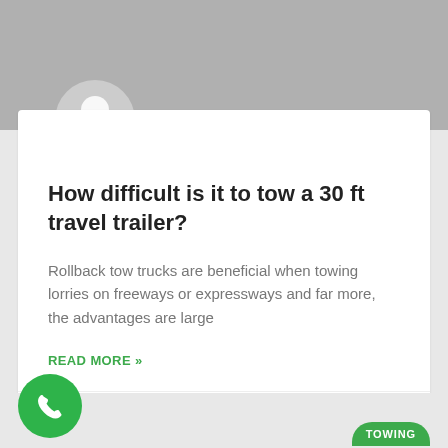[Figure (illustration): Gray top banner background with avatar placeholder icon (circle with person silhouette)]
How difficult is it to tow a 30 ft travel trailer?
Rollback tow trucks are beneficial when towing lorries on freeways or expressways and far more, the advantages are large
READ MORE »
January 2, 2021 · No Comments
[Figure (illustration): Green circular phone call button at bottom left, and a partial green TOWING pill tag at bottom right]